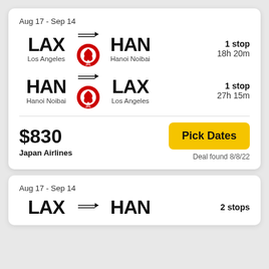Aug 17 - Sep 14
LAX → HAN | Los Angeles to Hanoi Noibai | 1 stop | 18h 20m
HAN → LAX | Hanoi Noibai to Los Angeles | 1 stop | 27h 15m
$830
Japan Airlines
Pick Dates
Deal found 8/8/22
Aug 17 - Sep 14
LAX → HAN | 2 stops